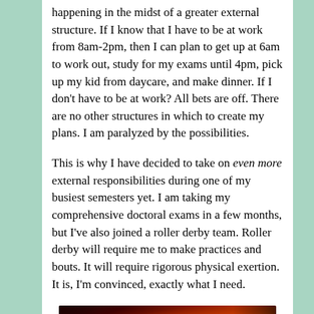happening in the midst of a greater external structure. If I know that I have to be at work from 8am-2pm, then I can plan to get up at 6am to work out, study for my exams until 4pm, pick up my kid from daycare, and make dinner. If I don't have to be at work? All bets are off. There are no other structures in which to create my plans. I am paralyzed by the possibilities.
This is why I have decided to take on even more external responsibilities during one of my busiest semesters yet. I am taking my comprehensive doctoral exams in a few months, but I've also joined a roller derby team. Roller derby will require me to make practices and bouts. It will require rigorous physical exertion. It is, I'm convinced, exactly what I need.
[Figure (photo): Action photo of roller derby players in red uniforms skating, with motion blur and bright orange/yellow lighting effects creating a dynamic, energetic scene]